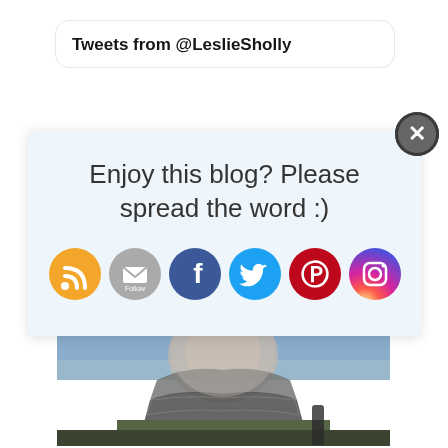Tweets from @LeslieSholly
Enjoy this blog? Please spread the word :)
[Figure (infographic): Social media share icons: RSS (orange), Email/Follow (gray), Facebook (dark blue), Twitter (light blue), Pinterest (red), Instagram (purple/orange gradient)]
[Figure (photo): A soldier wearing military camouflage and a checkered scarf/keffiyeh around their neck and lower face, with a blue sky background.]
physiciansforlife.ca
No Soldier Euthanasia - Canadian Physicians for Life